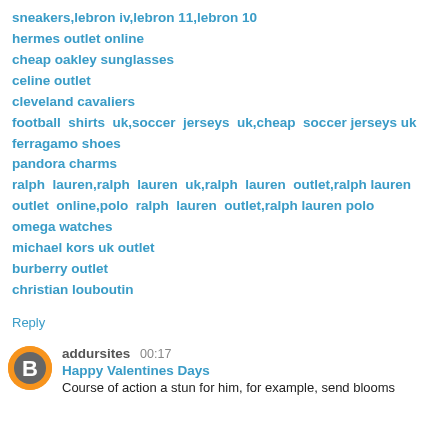sneakers,lebron iv,lebron 11,lebron 10
hermes outlet online
cheap oakley sunglasses
celine outlet
cleveland cavaliers
football shirts uk,soccer jerseys uk,cheap soccer jerseys uk
ferragamo shoes
pandora charms
ralph lauren,ralph lauren uk,ralph lauren outlet,ralph lauren outlet online,polo ralph lauren outlet,ralph lauren polo
omega watches
michael kors uk outlet
burberry outlet
christian louboutin
Reply
addursites 00:17
Happy Valentines Days
Course of action a stun for him, for example, send blooms